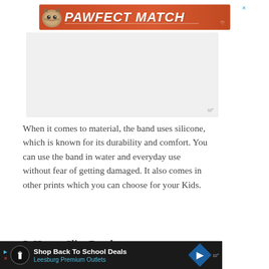[Figure (illustration): PAWFECT MATCH advertisement banner with cat image on orange/red background with close X button and heart icon]
[Figure (screenshot): Gray advertisement placeholder box with Moat watermark in bottom right corner]
When it comes to material, the band uses silicone, which is known for its durability and comfort. You can use the band in water and everyday use without fear of getting damaged. It also comes in other prints which you can choose for your Kids.
5. Henva Slim Band
[Figure (illustration): Bottom advertisement bar: Shop Back To School Deals - Leesburg Premium Outlets, dark background with blue navigation arrow icon and Moat watermark]